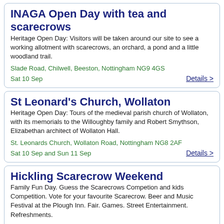INAGA Open Day with tea and scarecrows
Heritage Open Day: Visitors will be taken around our site to see a working allotment with scarecrows, an orchard, a pond and a little woodland trail.
Slade Road, Chilwell, Beeston, Nottingham NG9 4GS
Sat 10 Sep
Details >
St Leonard's Church, Wollaton
Heritage Open Day: Tours of the medieval parish church of Wollaton, with its memorials to the Willoughby family and Robert Smythson, Elizabethan architect of Wollaton Hall.
St. Leonards Church, Wollaton Road, Nottingham NG8 2AF
Sat 10 Sep and Sun 11 Sep
Details >
Hickling Scarecrow Weekend
Family Fun Day. Guess the Scarecrows Competion and kids Competition. Vote for your favourite Scarecrow. Beer and Music Festival at the Plough Inn. Fair. Games. Street Entertainment. Refreshments.
The Village Hall, Main Street LE14 3AJ
Sat 10 Sep and Sun 11 Sep
Details >
Viking Optics Demo Day at Attenborough Nature